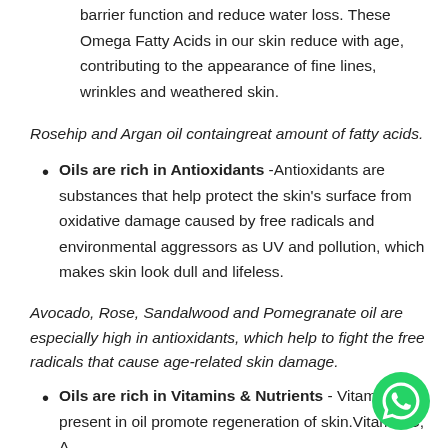Fatty Acids in our skin reduce with age, contributing to the appearance of fine lines, wrinkles and weathered skin.
Rosehip and Argan oil containgreat amount of fatty acids.
Oils are rich in Antioxidants - Antioxidants are substances that help protect the skin's surface from oxidative damage caused by free radicals and environmental aggressors as UV and pollution, which makes skin look dull and lifeless.
Avocado, Rose, Sandalwood and Pomegranate oil are especially high in antioxidants, which help to fight the free radicals that cause age-related skin damage.
Oils are rich in Vitamins & Nutrients - Vitamins present in oil promote regeneration of skin.Vitamin C, A
[Figure (logo): WhatsApp icon — green circle with white phone/chat logo]